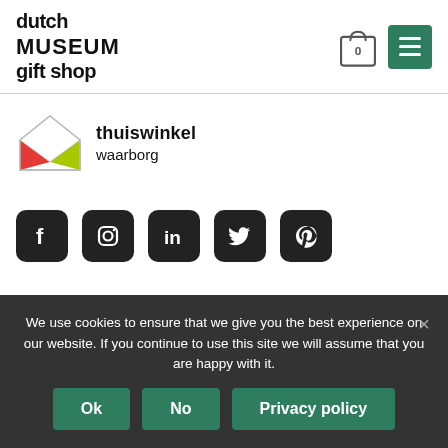[Figure (logo): Dutch Museum Gift Shop logo with bold text: dutch MUSEUM gift shop]
[Figure (illustration): Shopping cart icon with 0 badge and hamburger menu button in dark green]
[Figure (logo): Thuiswinkel waarborg logo: envelope icon with red and green triangles, text 'thuiswinkel waarborg']
[Figure (illustration): Social media icons: Facebook, Instagram, LinkedIn, Twitter, Pinterest — all dark square rounded icons]
We use cookies to ensure that we give you the best experience on our website. If you continue to use this site we will assume that you are happy with it.
Ok
No
Privacy policy